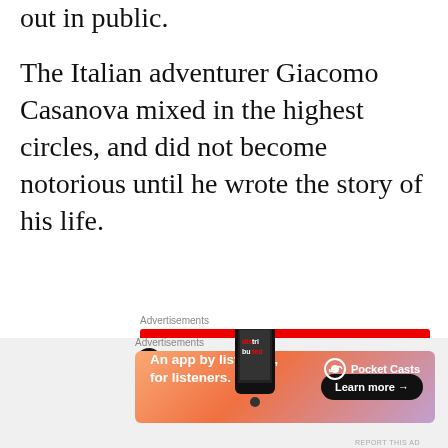out in public.
The Italian adventurer Giacomo Casanova mixed in the highest circles, and did not become notorious until he wrote the story of his life.
[Figure (other): Pocket Casts advertisement banner: red background with phone graphic, text 'An app by listeners, for listeners.' and Pocket Casts logo]
On the other hand, William
[Figure (other): WordPress VIP advertisement with gradient background and 'Learn more' button]